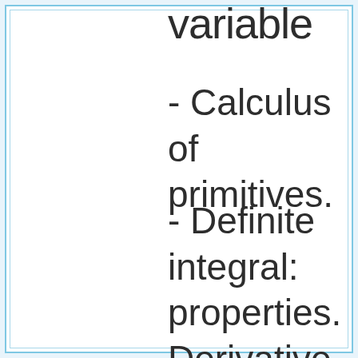variable
- Calculus of primitives.
- Definite integral: properties. Derivative and integral: Fundamental